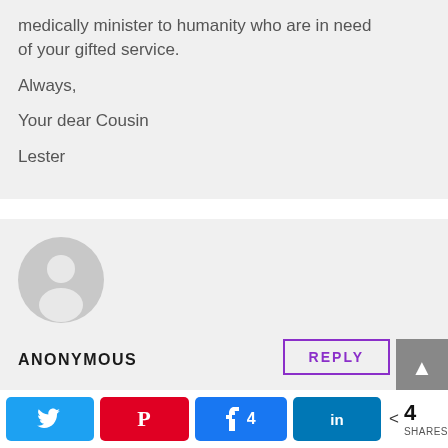medically minister to humanity who are in need of your gifted service.
Always,
Your dear Cousin
Lester
[Figure (illustration): Anonymous user avatar: grey circle with white silhouette of a person]
ANONYMOUS
REPLY
Twitter  Pinterest  Facebook 4  LinkedIn  < 4 SHARES